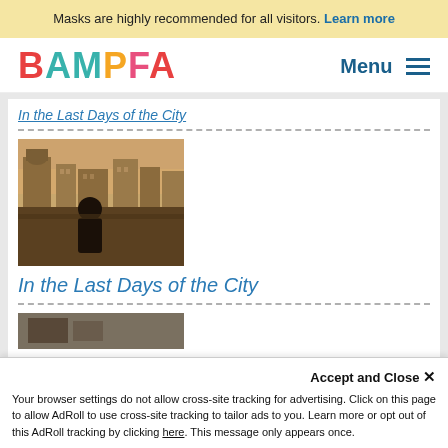Masks are highly recommended for all visitors. Learn more
[Figure (logo): BAMPFA logo in multicolor letters]
Menu
In the Last Days of the City
[Figure (photo): Film still: person standing on rooftop overlooking city with sepia/orange hazy sky and urban buildings]
In the Last Days of the City
Accept and Close ✕
Your browser settings do not allow cross-site tracking for advertising. Click on this page to allow AdRoll to use cross-site tracking to tailor ads to you. Learn more or opt out of this AdRoll tracking by clicking here. This message only appears once.